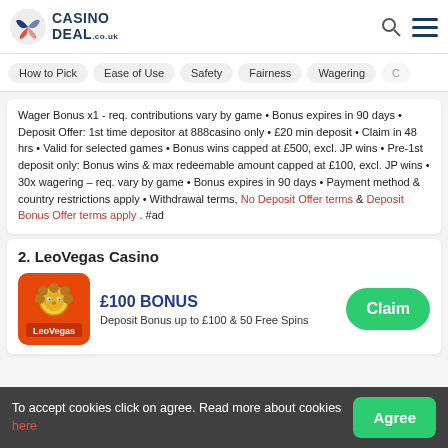CASINO DEAL .co.uk
How to Pick
Ease of Use
Safety
Fairness
Wagering
Wager Bonus x1 - req. contributions vary by game • Bonus expires in 90 days • Deposit Offer: 1st time depositor at 888casino only • £20 min deposit • Claim in 48 hrs • Valid for selected games • Bonus wins capped at £500, excl. JP wins • Pre-1st deposit only: Bonus wins & max redeemable amount capped at £100, excl. JP wins • 30x wagering – req. vary by game • Bonus expires in 90 days • Payment method & country restrictions apply • Withdrawal terms, No Deposit Offer terms & Deposit Bonus Offer terms apply . #ad
2. LeoVegas Casino
£100 BONUS
Deposit Bonus up to £100 & 50 Free Spins
Claim
To accept cookies click on agree. Read more about cookies here. Agree